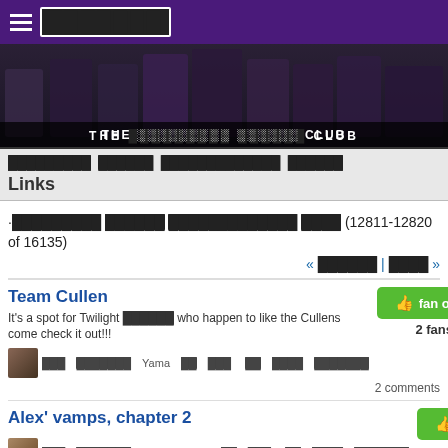≡ ███████
[Figure (photo): Twilight saga movie cast photo banner with text THE █████████ ██████ CLUB]
█████████ ██████ █████████████ ██████ Links
·█████████ ██████ █████████████ ████ (12811-12820 of 16135)
« ██████ | ████ »
Team Cullen
It's a spot for Twilight ██████ who happen to like the Cullens come check it out!!!
███ ███████ Yama ██ ███  ██ ████ ███████
2 comments
Alex' vamps, chapter 2
███ ███████ ● Chrisztine ██ ███  ██ ████ ███████
Christian Serratos won Supporting